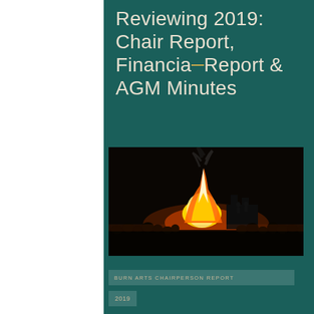Reviewing 2019: Chair Report, Financial Report & AGM Minutes
[Figure (photo): Night-time bonfire scene with a large orange flame rising above dark silhouettes of a building and crowd of people gathered around]
BURN ARTS CHAIRPERSON REPORT
2019